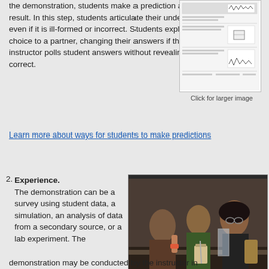the demonstration, students make a prediction about the result. In this step, students articulate their understanding, even if it is ill-formed or incorrect. Students explain their choice to a partner, changing their answers if they like. The instructor polls student answers without revealing which are correct.
[Figure (screenshot): Screenshot of a worksheet or form with waveform graphs]
Click for larger image
Learn more about ways for students to make predictions
2. Experience. The demonstration can be a survey using student data, a simulation, an analysis of data from a secondary source, or a lab experiment. The demonstration may be conducted by the instructor in
[Figure (photo): Photo of three students conducting a lab experiment with beakers and scientific equipment]